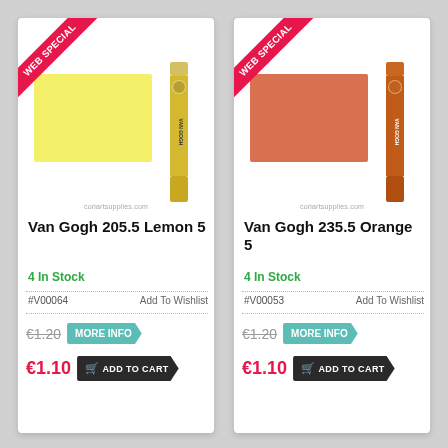[Figure (photo): Van Gogh 205.5 Lemon 5 pastel stick with yellow color swatch, WEB SPECIAL ribbon]
Van Gogh 205.5 Lemon 5
4 In Stock
#V00064
Add To Wishlist
€1.20
MORE INFO
€1.10
ADD TO CART
[Figure (photo): Van Gogh 235.5 Orange 5 pastel stick with orange color swatch, WEB SPECIAL ribbon]
Van Gogh 235.5 Orange 5
4 In Stock
#V00053
Add To Wishlist
€1.20
MORE INFO
€1.10
ADD TO CART